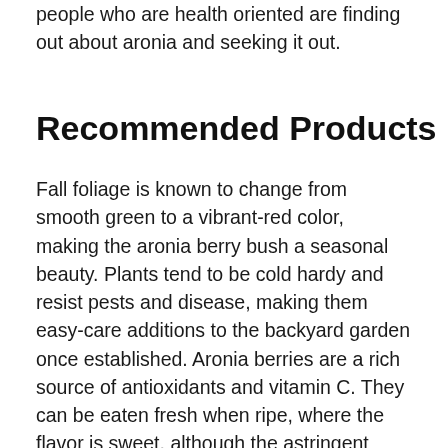people who are health oriented are finding out about aronia and seeking it out.
Recommended Products
Fall foliage is known to change from smooth green to a vibrant-red color, making the aronia berry bush a seasonal beauty. Plants tend to be cold hardy and resist pests and disease, making them easy-care additions to the backyard garden once established. Aronia berries are a rich source of antioxidants and vitamin C. They can be eaten fresh when ripe, where the flavor is sweet, although the astringent pucker explains the origin of the colloquial name, chokeberry. The fruit is more commonly used in juices, wines, and jellies.